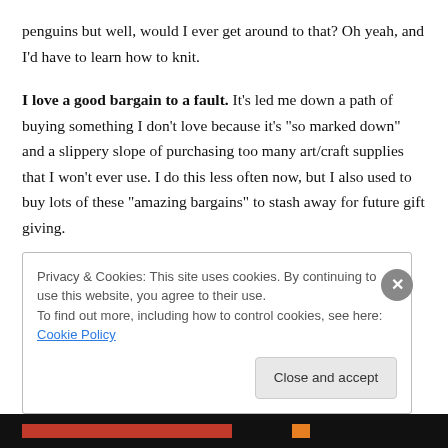penguins but well, would I ever get around to that? Oh yeah, and I’d have to learn how to knit.
I love a good bargain to a fault. It’s led me down a path of buying something I don’t love because it’s “so marked down” and a slippery slope of purchasing too many art/craft supplies that I won’t ever use. I do this less often now, but I also used to buy lots of these “amazing bargains” to stash away for future gift giving.
I am very sentimental. Material things are material things
Privacy & Cookies: This site uses cookies. By continuing to use this website, you agree to their use.
To find out more, including how to control cookies, see here: Cookie Policy
Close and accept